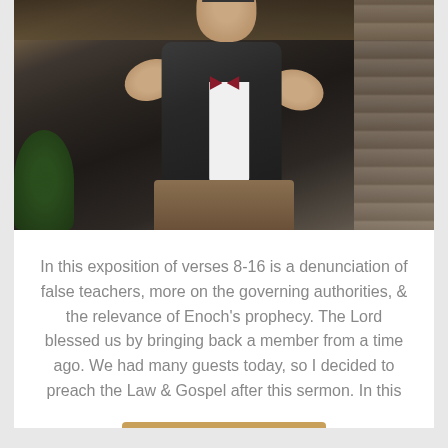[Figure (photo): A man in a dark suit and burgundy bow tie, speaking energetically with both hands raised, standing at a pulpit in what appears to be a church with wood ceiling and stone wall background.]
In this exposition of verses 8-16 is a denunciation of false teachers, more on the governing authorities, & the relevance of Enoch's prophecy. The Lord blessed us by bringing back a member from a time ago. We had many guests today, so I decided to preach the Law & Gospel after this sermon. In this